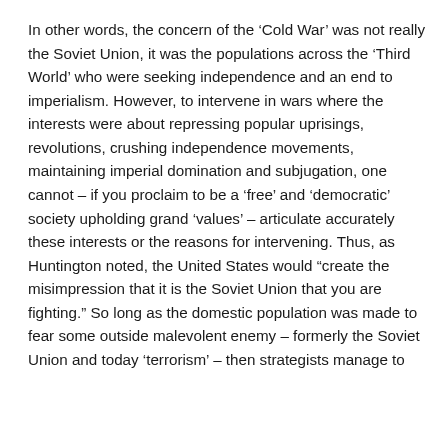In other words, the concern of the ‘Cold War’ was not really the Soviet Union, it was the populations across the ‘Third World’ who were seeking independence and an end to imperialism. However, to intervene in wars where the interests were about repressing popular uprisings, revolutions, crushing independence movements, maintaining imperial domination and subjugation, one cannot – if you proclaim to be a ‘free’ and ‘democratic’ society upholding grand ‘values’ – articulate accurately these interests or the reasons for intervening. Thus, as Huntington noted, the United States would “create the misimpression that it is the Soviet Union that you are fighting.” So long as the domestic population was made to fear some outside malevolent enemy – formerly the Soviet Union and today ‘terrorism’ – then strategists manage to